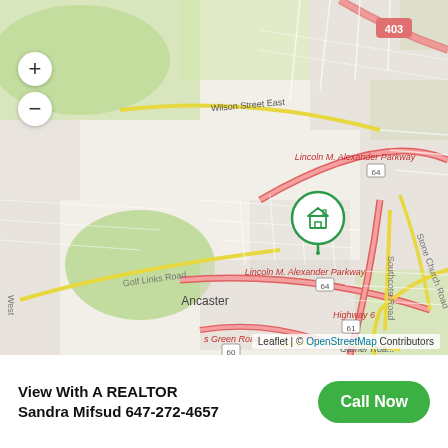[Figure (map): OpenStreetMap / Leaflet map showing the Ancaster area of Hamilton, Ontario. Key roads labeled include Lincoln M. Alexander Parkway (64), Wilson Street East, Golf Links Road, Mohawk Road, Highway 6 (61), Southcote Road, Stone Church Road, s Green Road (60), Garner Road, and road 403. A house marker pin is placed near the intersection area around Rousseaux Street. Zoom in (+) and zoom out (-) buttons visible at left. Map attribution reads: Leaflet | © OpenStreetMap Contributors.]
View With A REALTOR
Sandra Mifsud 647-272-4657
[Figure (other): Green rounded button labeled 'Call Now']